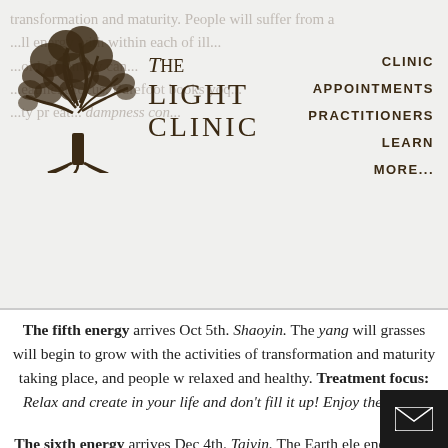[Figure (logo): The Light Clinic logo: stylized tree illustration with text 'The Light Clinic' in serif font]
CLINIC
APPOINTMENTS
PRACTITIONERS
LEARN
MORE...
The fifth energy arrives Oct 5th. Shaoyin. The yang will... grasses will begin to grow with the activities of transformation and maturity taking place, and people w... relaxed and healthy. Treatment focus: Relax and create... in your life and don't fill it up! Enjoy the space.
The sixth energy arrives Dec 4th. Taiyin. The Earth ele... energy will be victorious, and the order of dampness w... widespread. Yin and cold energy will fill up the Extreme... with dust and darkness covering the outskirts. ... suffer from a cold climate and when cold win... pregnancy will become very difficult. Treatment foc...